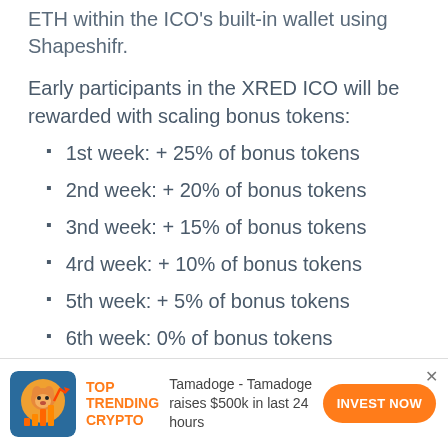ETH within the ICO's built-in wallet using Shapeshifr.
Early participants in the XRED ICO will be rewarded with scaling bonus tokens:
1st week: + 25% of bonus tokens
2nd week: + 20% of bonus tokens
3nd week: + 15% of bonus tokens
4rd week: + 10% of bonus tokens
5th week: + 5% of bonus tokens
6th week: 0% of bonus tokens
[Figure (infographic): Advertisement banner: TOP TRENDING CRYPTO - Tamadoge raises $500k in last 24 hours - INVEST NOW button]